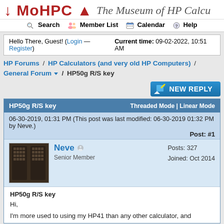↓ MoHPC ▲  The Museum of HP Calcu
Search  Member List  Calendar  Help
Hello There, Guest! (Login — Register)  Current time: 09-02-2022, 10:51 AM
HP Forums / HP Calculators (and very old HP Computers) / General Forum ▼ / HP50g R/S key
NEW REPLY
| HP50g R/S key | Threaded Mode | Linear Mode |
| --- | --- |
| 06-30-2019, 01:31 PM (This post was last modified: 06-30-2019 01:32 PM by Neve.) | Post: #1 |
| Neve  Senior Member  Posts: 327  Joined: Oct 2014 |  |
| HP50g R/S key
Hi,

I'm more used to using my HP41 than any other calculator, and |  |